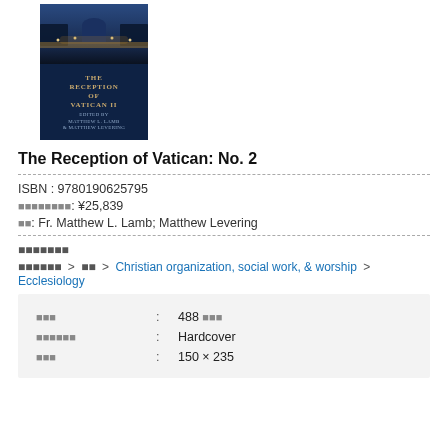[Figure (photo): Book cover of 'The Reception of Vatican II' edited by Matthew L. Lamb and Matthew Levering. Top half shows a photo of St. Peter's Square at night with illuminated colonnades and blue sky. Bottom half is dark navy with gold lettering for title and smaller text for editors' names.]
The Reception of Vatican: No. 2
ISBN : 9780190625795
⬛⬛⬛⬛⬛⬛⬛⬛: ¥25,839
⬛⬛: Fr. Matthew L. Lamb; Matthew Levering
⬛⬛⬛⬛⬛⬛⬛
⬛⬛⬛⬛⬛⬛ > ⬛⬛ > Christian organization, social work, & worship > Ecclesiology
| ⬛⬛⬛ | : | 488 ⬛⬛⬛ |
| ⬛⬛⬛⬛⬛⬛ | : | Hardcover |
| ⬛⬛⬛ | : | 150 × 235 |